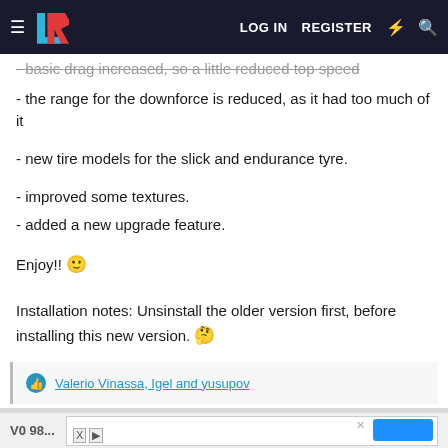LOG IN  REGISTER
- basic drag increased, so a little reduced top speed
- the range for the downforce is reduced, as it had too much of it
- new tire models for the slick and endurance tyre.
- improved some textures.
- added a new upgrade feature.
Enjoy!! 🙂
Installation notes: Unsinstall the older version first, before installing this new version. 🤔
Valerio Vinassa, Igel and yusupov